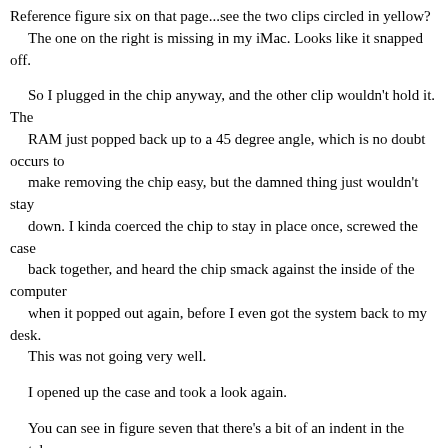Reference figure six on that page...see the two clips circled in yellow?
  The one on the right is missing in my iMac. Looks like it snapped off.

  So I plugged in the chip anyway, and the other clip wouldn't hold it. The
  RAM just popped back up to a 45 degree angle, which is no doubt occurs to
  make removing the chip easy, but the damned thing just wouldn't stay
  down. I kinda coerced the chip to stay in place once, screwed the case
  back together, and heard the chip smack against the inside of the computer
  when it popped out again, before I even got the system back to my desk.
  This was not going very well.

  I opened up the case and took a look again.

  You can see in figure seven that there's a bit of an indent in the metal
  surface where the RAM chip (and AirPort card) go.